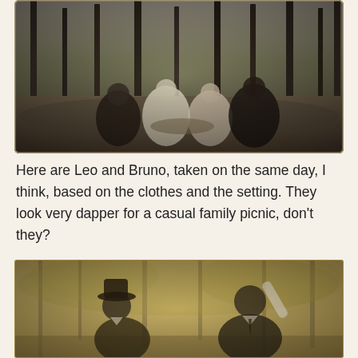[Figure (photo): Sepia/black-and-white photograph of a group of people sitting on the ground in a forest setting, appearing to have a picnic. Trees are visible in the background.]
Here are Leo and Bruno, taken on the same day, I think, based on the clothes and the setting. They look very dapper for a casual family picnic, don't they?
[Figure (photo): Sepia-toned photograph of two men (Leo and Bruno) standing outdoors in a wooded setting, dressed in formal clothes including suit jackets and hats.]